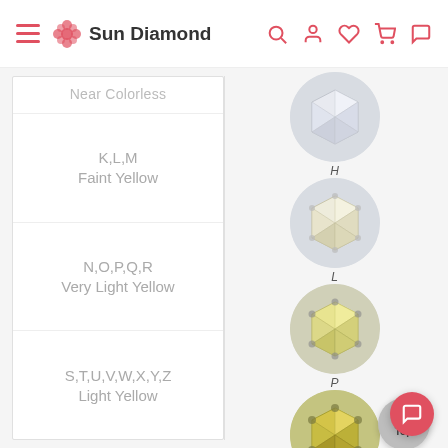Sun Diamond
Near Colorless
K,L,M
Faint Yellow
N,O,P,Q,R
Very Light Yellow
S,T,U,V,W,X,Y,Z
Light Yellow
[Figure (photo): Diamond labeled H – near colorless, round brilliant cut diamond image in gray circular background]
[Figure (photo): Diamond labeled L – faint yellow tint, round brilliant cut diamond image in gray circular background]
[Figure (photo): Diamond labeled P – very light yellow tint, round brilliant cut diamond image in gray circular background]
[Figure (photo): Diamond labeled Z – light yellow, round brilliant cut diamond image in gray circular background]